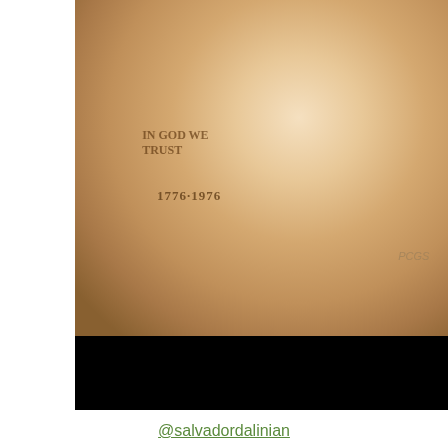[Figure (photo): Close-up photo of a Bicentennial Silver Dollar coin showing the obverse with Kennedy's profile, 'IN GOD WE TRUST' inscription, and dates '1776-1976'. The coin appears copper/rose-gold colored in a PCGS holder. Lower portion of image is black.]
@salvadordalinian
The Bicentennial Silver Dollar is the silver-composed, one-dollar denomination of the Bicentennial memorial coinage. Dennis R. Williams and the other two winners of the design contest were present at the Philadelphia Mint to ceremoniously strike the prototypes of